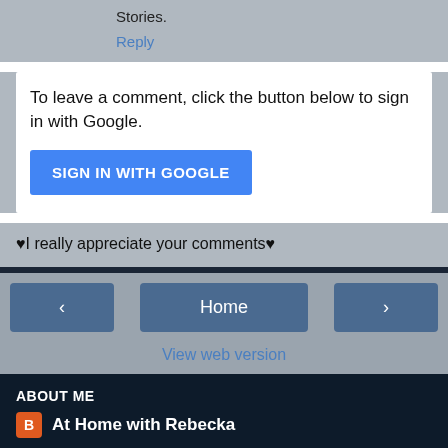Stories.
Reply
To leave a comment, click the button below to sign in with Google.
SIGN IN WITH GOOGLE
♥I really appreciate your comments♥
‹
Home
›
View web version
ABOUT ME
At Home with Rebecka
View my complete profile
Powered by Blogger.